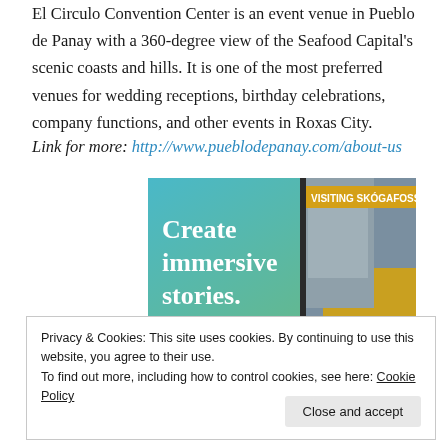El Circulo Convention Center is an event venue in Pueblo de Panay with a 360-degree view of the Seafood Capital's scenic coasts and hills. It is one of the most preferred venues for wedding receptions, birthday celebrations, company functions, and other events in Roxas City.
Link for more: http://www.pueblodepanay.com/about-us
[Figure (illustration): Advertisement image with blue-green gradient background showing text 'Create immersive stories.' on the left and a mobile app screenshot 'VISITING SKÓGAFOSS' with a waterfall/climber photo on the right]
Privacy & Cookies: This site uses cookies. By continuing to use this website, you agree to their use.
To find out more, including how to control cookies, see here: Cookie Policy
Close and accept